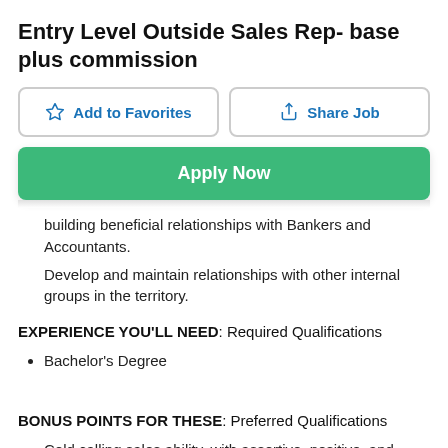Entry Level Outside Sales Rep- base plus commission
Add to Favorites | Share Job | Apply Now
building beneficial relationships with Bankers and Accountants.
Develop and maintain relationships with other internal groups in the territory.
EXPERIENCE YOU'LL NEED: Required Qualifications
Bachelor's Degree
BONUS POINTS FOR THESE: Preferred Qualifications
Cold calling sales ability, with assertive, positive, and persistent style
Excellent verbal and written communication skills